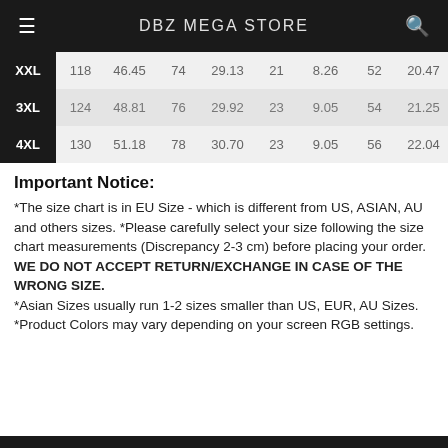DBZ MEGA STORE
| Size | cm | in | cm | in | cm | in | cm | in |
| --- | --- | --- | --- | --- | --- | --- | --- | --- |
| XXL | 118 | 46.45 | 74 | 29.13 | 21 | 8.26 | 52 | 20.47 |
| 3XL | 124 | 48.81 | 76 | 29.92 | 23 | 9.05 | 54 | 21.25 |
| 4XL | 130 | 51.18 | 78 | 30.70 | 23 | 9.05 | 56 | 22.04 |
Important Notice:
*The size chart is in EU Size - which is different from US, ASIAN, AU and others sizes. *Please carefully select your size following the size chart measurements (Discrepancy 2-3 cm) before placing your order. WE DO NOT ACCEPT RETURN/EXCHANGE IN CASE OF THE WRONG SIZE. *Asian Sizes usually run 1-2 sizes smaller than US, EUR, AU Sizes. *Product Colors may vary depending on your screen RGB settings.